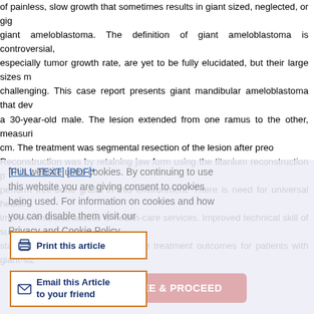of painless, slow growth that sometimes results in giant sized, neglected, or giant ameloblastoma. The definition of giant ameloblastoma is controversial, especially tumor growth rate, are yet to be fully elucidated, but their large sizes make challenging. This case report presents giant mandibular ameloblastoma that developed in a 30-year-old male. The lesion extended from one ramus to the other, measuring cm. The treatment was segmental resection of the lesion after pre. Reconstruction was by retaining jaw form using the titanium reconstruction to perform free-bone grafts in this environment. There is need for universal health to improve financial access to health-care services. Improved technical skill of surgical staff will also assist to optimize the treatment outcomes for patients with giant-size
This website uses cookies. By continuing to use this website you are giving consent to cookies being used. For information on cookies and how you can disable them visit our Privacy and Cookie Policy.
[FULL TEXT] [PDF]*
Print this article
Email this Article to your friend
AGREE & PROCEED